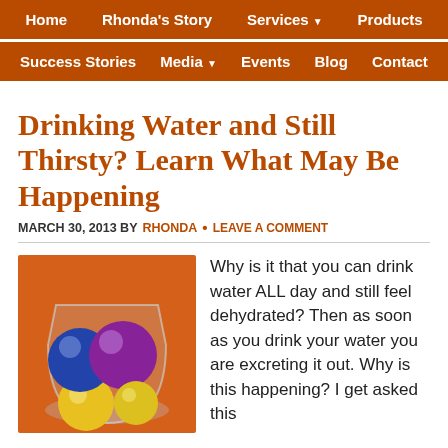Home | Rhonda's Story | Services | Products
Success Stories | Media | Events | Blog | Contact
Drinking Water and Still Thirsty? Learn What May Be Happening
MARCH 30, 2013 BY RHONDA • LEAVE A COMMENT
[Figure (photo): Colorful balls (blue, purple, yellow) in a clear glass on an orange background]
Why is it that you can drink water ALL day and still feel dehydrated?  Then as soon as you drink your water you are excreting it out.  Why is this happening?  I get asked this